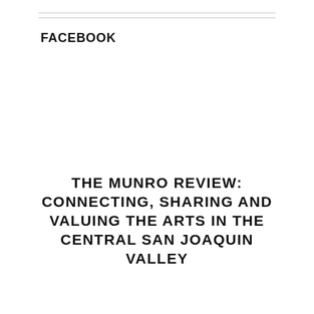FACEBOOK
THE MUNRO REVIEW: CONNECTING, SHARING AND VALUING THE ARTS IN THE CENTRAL SAN JOAQUIN VALLEY
HOME   THEATER   VISUAL ARTS   CLASSICAL MUSIC   TRAVEL